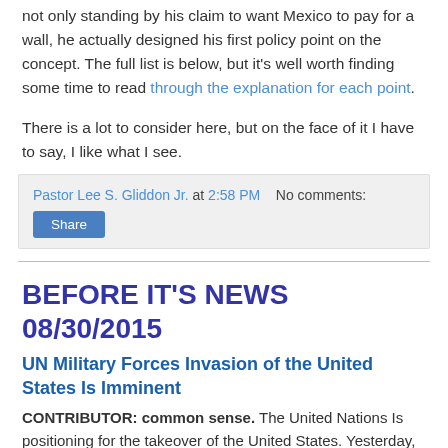not only standing by his claim to want Mexico to pay for a wall, he actually designed his first policy point on the concept. The full list is below, but it's well worth finding some time to read through the explanation for each point.
There is a lot to consider here, but on the face of it I have to say, I like what I see.
Pastor Lee S. Gliddon Jr. at 2:58 PM   No comments:
Share
BEFORE IT'S NEWS 08/30/2015
UN Military Forces Invasion of the United States Is Imminent
CONTRIBUTOR: common sense. The United Nations Is positioning for the takeover of the United States. Yesterday, and despite being a speed reader, I spent almost three hours reviewing a mountain of material that I have been sent by people from around the country. About half way through my review, I had...